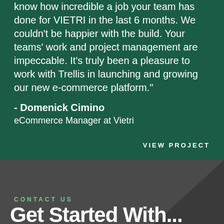know how incredible a job your team has done for VIETRI in the last 6 months. We couldn't be happier with the build. Your teams' work and project management are impeccable. It's truly been a pleasure to work with Trellis in launching and growing our new e-commerce platform."
- Domenick Cimino
eCommerce Manager at Vietri
VIEW PROJECT
CONTACT US
Get Started With...